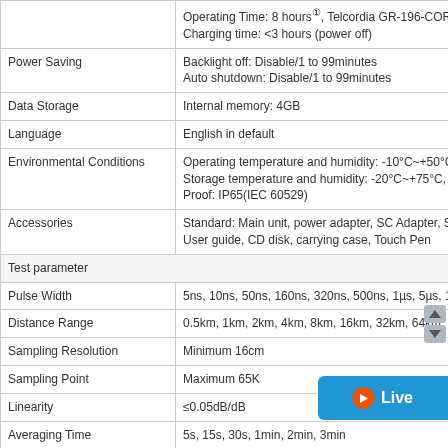| Parameter | Value |
| --- | --- |
|  | Operating Time: 8 hours①, Telcordia GR-196-CORE
Charging time: <3 hours (power off) |
| Power Saving | Backlight off: Disable/1 to 99minutes
Auto shutdown: Disable/1 to 99minutes |
| Data Storage | Internal memory: 4GB |
| Language | English in default |
| Environmental Conditions | Operating temperature and humidity: -10°C~+50°C, ≤95% (
Storage temperature and humidity: -20°C~+75°C, ≤95% (no
Proof: IP65(IEC 60529) |
| Accessories | Standard: Main unit, power adapter, SC Adapter, ST Adapte
User guide, CD disk, carrying case, Touch Pen |
| Test parameter |  |
| Pulse Width | 5ns, 10ns, 50ns, 160ns, 320ns, 500ns, 1µs, 5µs, 10µs ,20u |
| Distance Range | 0.5km, 1km, 2km, 4km, 8km, 16km, 32km, 64km, 128km, 2 |
| Sampling Resolution | Minimum 16cm |
| Sampling Point | Maximum 65K |
| Linearity | ≤0.05dB/dB |
| Averaging Time | 5s, 15s, 30s, 1min, 2min, 3min |
| Auto Off | off, 10min, 30min, 60min |
| Distance Accuracy | ±(1m+measuring distance×3×10-5+sampling resolution ) ( |
| Screen Backlight | ≤100 |
| IOR Setting | 1.0000~2.0000 |
| Units | km |
| OTDR Trace Format | Telcordia universal, SOR, issue 2(SR-4731) |